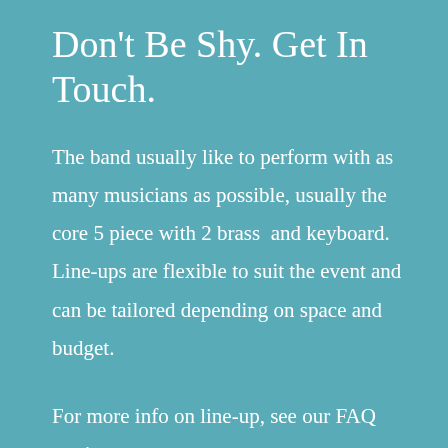Don't Be Shy. Get In Touch.
The band usually like to perform with as many musicians as possible, usually the core 5 piece with 2 brass  and keyboard. Line-ups are flexible to suit the event and can be tailored depending on space and budget.
For more info on line-up, see our FAQ section.